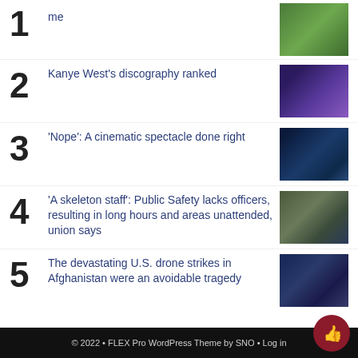1 me
2 Kanye West's discography ranked
3 'Nope': A cinematic spectacle done right
4 'A skeleton staff': Public Safety lacks officers, resulting in long hours and areas unattended, union says
5 The devastating U.S. drone strikes in Afghanistan were an avoidable tragedy
© 2022 • FLEX Pro WordPress Theme by SNO • Log in